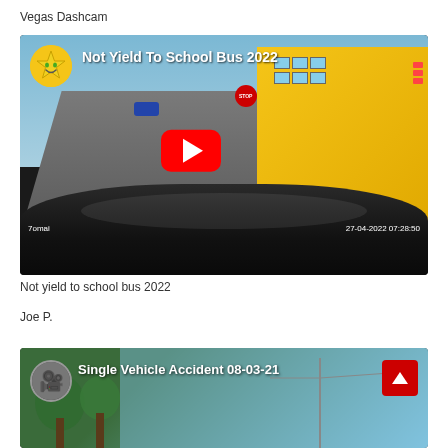Vegas Dashcam
[Figure (screenshot): YouTube video thumbnail showing a dashcam view of a school bus with a STOP arm extended, from inside a vehicle on a road. Title overlay reads 'Not Yield To School Bus 2022'. Channel avatar is a yellow star. Brand watermark '7omai' and timestamp '27-04-2022 07:28:50' visible. Red YouTube play button in center.]
Not yield to school bus 2022
Joe P.
[Figure (screenshot): YouTube video thumbnail showing 'Single Vehicle Accident 08-03-21' with a scroll-to-top button in upper right corner. Dashcam or outdoor footage background.]